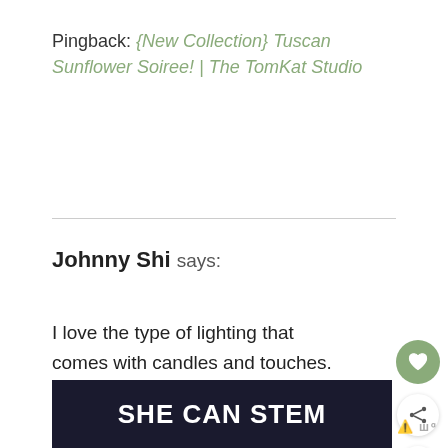Pingback: {New Collection} Tuscan Sunflower Soiree! | The TomKat Studio
Johnny Shi says:
I love the type of lighting that comes with candles and touches. There is just a calmi vibe about them. Like you mentioned, lighting makes all the difference when it comes t creating the ambiance. Thanks for sharing.
[Figure (other): SHE CAN STEM banner advertisement with dark background and white bold text]